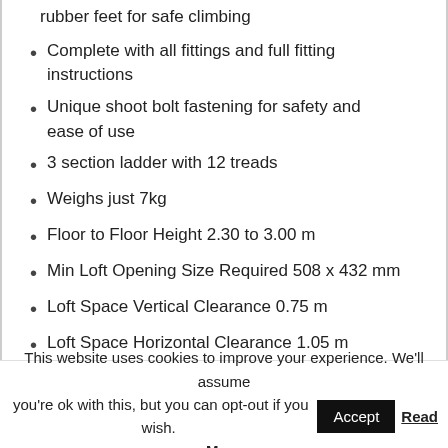rubber feet for safe climbing
Complete with all fittings and full fitting instructions
Unique shoot bolt fastening for safety and ease of use
3 section ladder with 12 treads
Weighs just 7kg
Floor to Floor Height 2.30 to 3.00 m
Min Loft Opening Size Required 508 x 432 mm
Loft Space Vertical Clearance 0.75 m
Loft Space Horizontal Clearance 1.05 m
Max Load 100 kg
This website uses cookies to improve your experience. We'll assume you're ok with this, but you can opt-out if you wish. Accept Read More